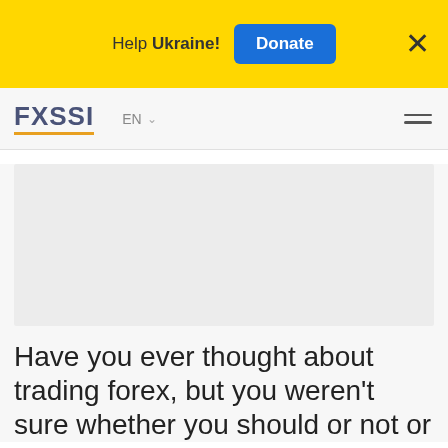Help Ukraine! Donate ×
[Figure (logo): FXSSI logo with orange underline]
EN ∨
[Figure (other): Advertisement or article image placeholder (light gray rectangle)]
Have you ever thought about trading forex, but you weren't sure whether you should or not or